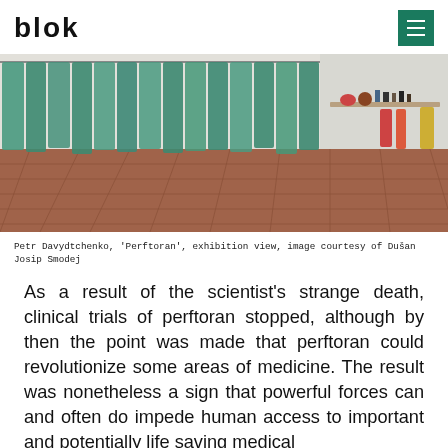blok
[Figure (photo): Gallery installation view showing green surgical gowns or garments hanging in a row against a white wall, with a terracotta tile floor. On the right wall, a wooden shelf holds various colorful objects. The image is from the exhibition 'Perftoran' by Petr Davydtchenko.]
Petr Davydtchenko, 'Perftoran', exhibition view, image courtesy of Dušan Josip Smodej
As a result of the scientist's strange death, clinical trials of perftoran stopped, although by then the point was made that perftoran could revolutionize some areas of medicine. The result was nonetheless a sign that powerful forces can and often do impede human access to important and potentially life saving medical